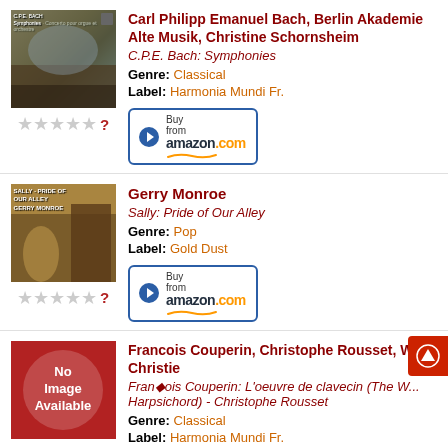[Figure (photo): Album cover for C.P.E. Bach Symphonies, landscape painting style]
★★★★★ ?
Carl Philipp Emanuel Bach, Berlin Akademie Alte Musik, Christine Schornsheim
C.P.E. Bach: Symphonies
Genre: Classical
Label: Harmonia Mundi Fr.
[Figure (other): Buy from amazon.com button]
[Figure (photo): Album cover for Sally: Pride of Our Alley by Gerry Monroe]
★★★★★ ?
Gerry Monroe
Sally: Pride of Our Alley
Genre: Pop
Label: Gold Dust
[Figure (other): Buy from amazon.com button]
[Figure (other): No Image Available placeholder (red background)]
★★★★★ ?
Francois Couperin, Christophe Rousset, William Christie
François Couperin: L'oeuvre de clavecin (The Works for Harpsichord) - Christophe Rousset
Genre: Classical
Label: Harmonia Mundi Fr.
[Figure (other): Buy from amazon.com button (partial)]